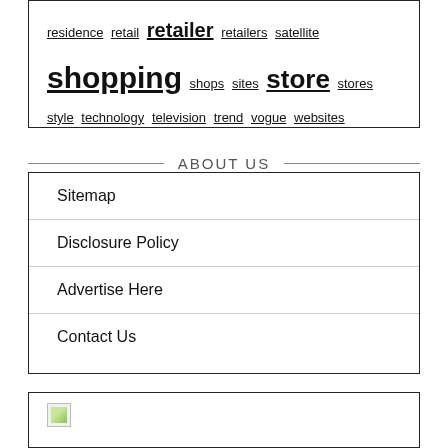residence retail retailer retailers satellite shopping shops sites store stores style technology television trend vogue websites
ABOUT US
Sitemap
Disclosure Policy
Advertise Here
Contact Us
[Figure (other): Broken image placeholder icon]